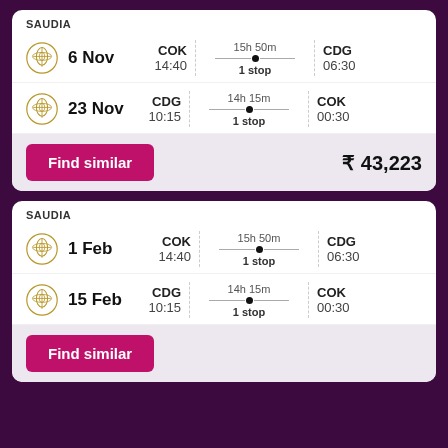SAUDIA
6 Nov  COK 14:40  15h 50m 1 stop  CDG 06:30
23 Nov  CDG 10:15  14h 15m 1 stop  COK 00:30
Find similar  ₹ 43,223
SAUDIA
1 Feb  COK 14:40  15h 50m 1 stop  CDG 06:30
15 Feb  CDG 10:15  14h 15m 1 stop  COK 00:30
Find similar